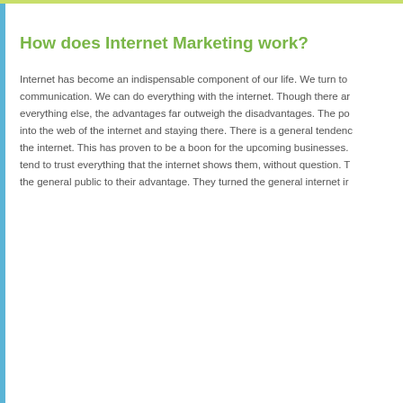How does Internet Marketing work?
Internet has become an indispensable component of our life. We turn to communication. We can do everything with the internet. Though there are everything else, the advantages far outweigh the disadvantages. The po into the web of the internet and staying there. There is a general tendence the internet. This has proven to be a boon for the upcoming businesses. tend to trust everything that the internet shows them, without question. T the general public to their advantage. They turned the general internet ir